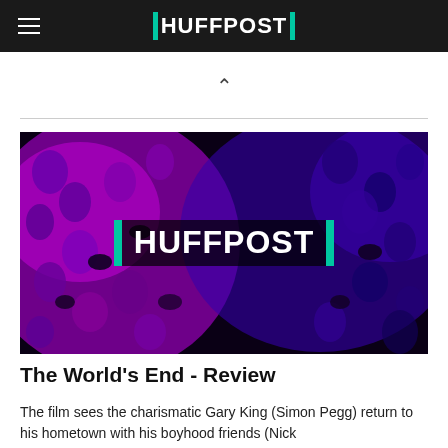HUFFPOST
[Figure (logo): HuffPost logo on dark purple abstract background with alien/creature-like forms]
The World's End - Review
The film sees the charismatic Gary King (Simon Pegg) return to his hometown with his boyhood friends (Nick